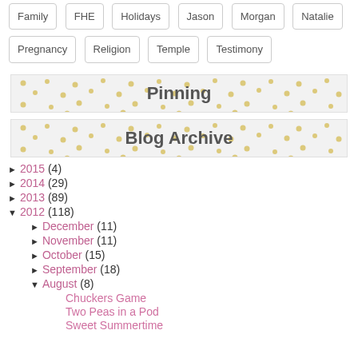Family  FHE  Holidays  Jason  Morgan  Natalie
Pregnancy  Religion  Temple  Testimony
Pinning
Blog Archive
► 2015 (4)
► 2014 (29)
► 2013 (89)
▼ 2012 (118)
► December (11)
► November (11)
► October (15)
► September (18)
▼ August (8)
Chuckers Game
Two Peas in a Pod
Sweet Summertime